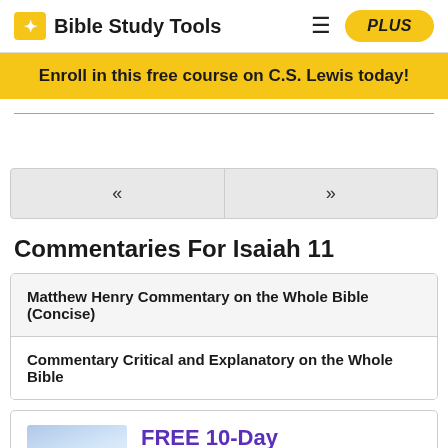Bible Study Tools
Enroll in this free course on C.S. Lewis today!
Commentaries For Isaiah 11
Matthew Henry Commentary on the Whole Bible (Concise)
Commentary Critical and Explanatory on the Whole Bible
FREE 10-Day Prayer Guide